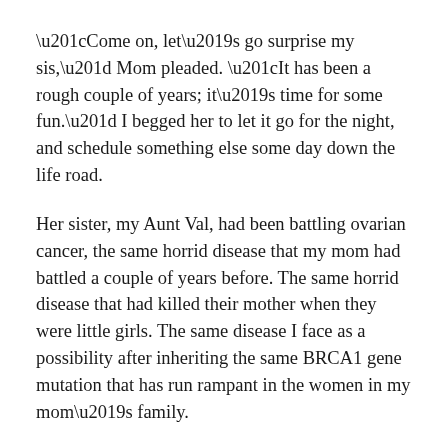“Come on, let’s go surprise my sis,” Mom pleaded. “It has been a rough couple of years; it’s time for some fun.” I begged her to let it go for the night, and schedule something else some day down the life road.
Her sister, my Aunt Val, had been battling ovarian cancer, the same horrid disease that my mom had battled a couple of years before. The same horrid disease that had killed their mother when they were little girls. The same disease I face as a possibility after inheriting the same BRCA1 gene mutation that has run rampant in the women in my mom’s family.
Aunt Val was on a break from treatment, and feeling better physically and emotionally. Mom had spoken to her earlier in the day, and learned she was planning to go out to see her favorite local band play at a venue in Moscow, Idaho.
The pleading continued until I agreed to go. I begrudgingly